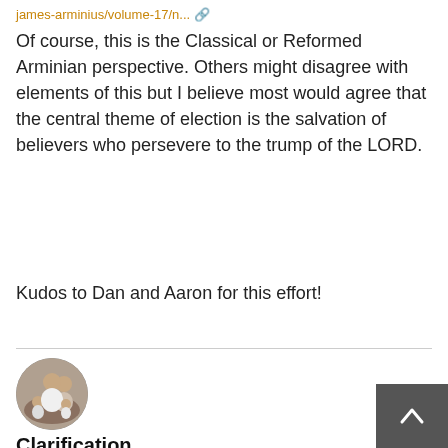james-arminius/volume-17/n...
Of course, this is the Classical or Reformed Arminian perspective. Others might disagree with elements of this but I believe most would agree that the central theme of election is the salvation of believers who persevere to the trump of the LORD.
Kudos to Dan and Aaron for this effort!
[Figure (photo): Circular avatar photo of a person/family group]
Clarification
handerson - Fri, 07/15/2011 - 12:02pm
Wayne Wilson wrote: It's even harder with the folks that say "Both are true."